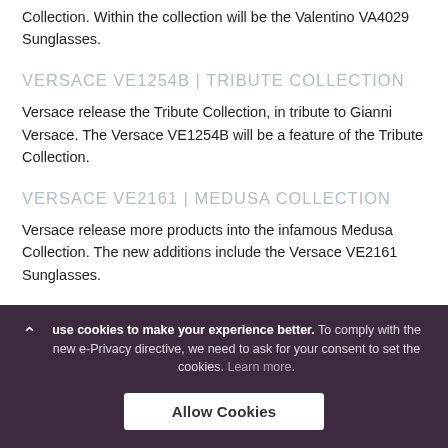Collection. Within the collection will be the Valentino VA4029 Sunglasses.
VERSACE VE1254B | TRIBUTE COLLECTION
Versace release the Tribute Collection, in tribute to Gianni Versace. The Versace VE1254B will be a feature of the Tribute Collection.
VERSACE VE2161 | MEDUSA COLLECTION
Versace release more products into the infamous Medusa Collection. The new additions include the Versace VE2161 Sunglasses.
use cookies to make your experience better. To comply with the new e-Privacy directive, we need to ask for your consent to set the cookies. Learn more.
Allow Cookies